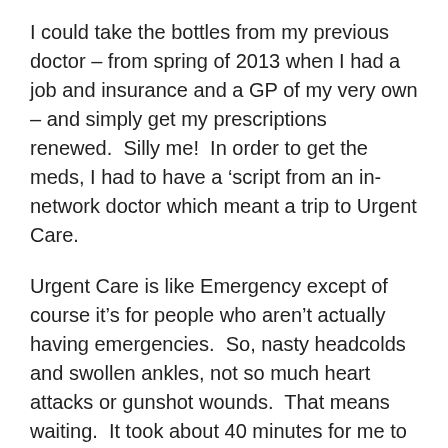I could take the bottles from my previous doctor – from spring of 2013 when I had a job and insurance and a GP of my very own – and simply get my prescriptions renewed.  Silly me!  In order to get the meds, I had to have a 'script from an in-network doctor which meant a trip to Urgent Care.
Urgent Care is like Emergency except of course it's for people who aren't actually having emergencies.  So, nasty headcolds and swollen ankles, not so much heart attacks or gunshot wounds.  That means waiting.  It took about 40 minutes for me to get into triage, but at that point it got speedy for me.  The medicine I take is for high blood pressure and I had been without it since before Christmas so at that point my blood pressure was actually quite high, high enough to make the staff uncomfortable, high enough that they considered admitting me.  Well, I had been